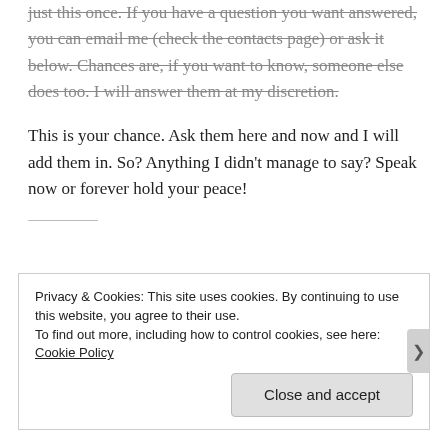just this once. If you have a question you want answered, you can email me (check the contacts page) or ask it below. Chances are, if you want to know, someone else does too. I will answer them at my discretion.
This is your chance. Ask them here and now and I will add them in. So? Anything I didn't manage to say? Speak now or forever hold your peace!
Privacy & Cookies: This site uses cookies. By continuing to use this website, you agree to their use.
To find out more, including how to control cookies, see here: Cookie Policy